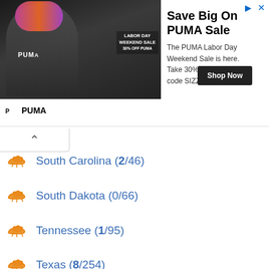[Figure (infographic): PUMA Labor Day Weekend Sale advertisement banner with athlete photo and LABOR DAY WEEKEND SALE text overlay]
Save Big On PUMA Sale
The PUMA Labor Day Weekend Sale is here. Take 30% off Sale using code SIZZLE. Now-9/5
South Carolina (2/46)
South Dakota (0/66)
Tennessee (1/95)
Texas (8/254)
Utah (1/29)
Vermont (2/14)
Virginia (5/134)